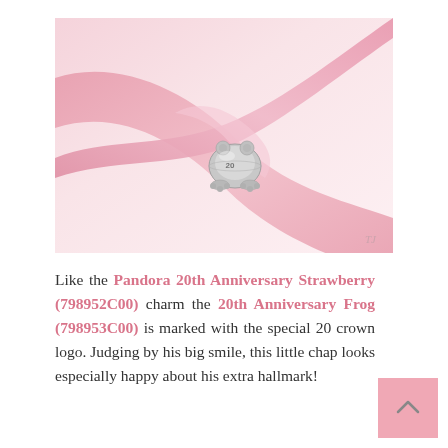[Figure (photo): A silver frog-shaped Pandora charm sitting on pink satin ribbons, with the 20th anniversary crown logo visible on the charm]
Like the Pandora 20th Anniversary Strawberry (798952C00) charm the 20th Anniversary Frog (798953C00) is marked with the special 20 crown logo. Judging by his big smile, this little chap looks especially happy about his extra hallmark!